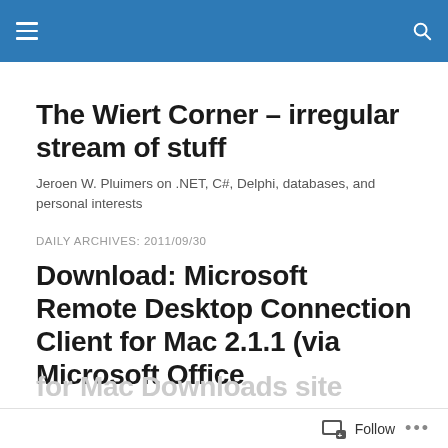The Wiert Corner – irregular stream of stuff [header bar with hamburger menu and search icon]
The Wiert Corner – irregular stream of stuff
Jeroen W. Pluimers on .NET, C#, Delphi, databases, and personal interests
DAILY ARCHIVES: 2011/09/30
Download: Microsoft Remote Desktop Connection Client for Mac 2.1.1 (via Microsoft Office for Mac Downloads site
Follow ...